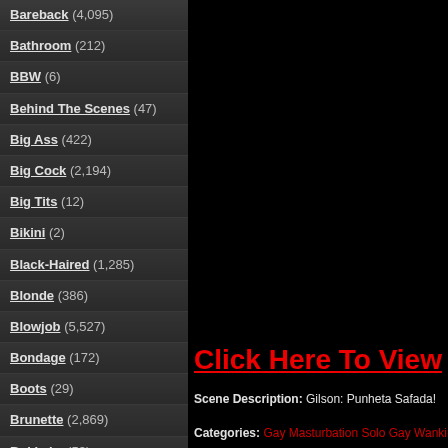Bareback (4,095)
Bathroom (212)
BBW (6)
Behind The Scenes (47)
Big Ass (422)
Big Cock (2,194)
Big Tits (12)
Bikini (2)
Black-Haired (1,285)
Blonde (386)
Blowjob (5,527)
Bondage (172)
Boots (29)
Brunette (2,869)
Bukkake (53)
Car (54)
Cartoon (104)
[Figure (screenshot): Black background area on the right side of the page]
Click Here To View
Scene Description: Gilson: Punheta Safada!
Categories: Gay Masturbation Solo Gay Wanking